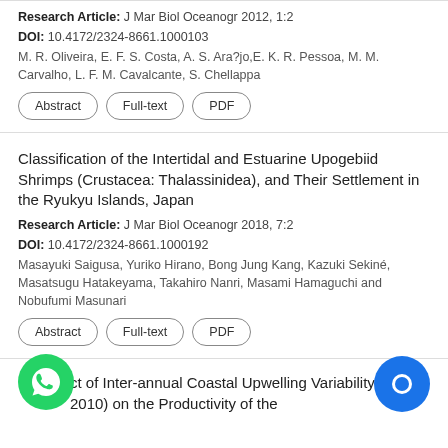Research Article: J Mar Biol Oceanogr 2012, 1:2
DOI: 10.4172/2324-8661.1000103
M. R. Oliveira, E. F. S. Costa, A. S. Ara?jo,E. K. R. Pessoa, M. M. Carvalho, L. F. M. Cavalcante, S. Chellappa
Abstract
Full-text
PDF
Classification of the Intertidal and Estuarine Upogebiid Shrimps (Crustacea: Thalassinidea), and Their Settlement in the Ryukyu Islands, Japan
Research Article: J Mar Biol Oceanogr 2018, 7:2
DOI: 10.4172/2324-8661.1000192
Masayuki Saigusa, Yuriko Hirano, Bong Jung Kang, Kazuki Sekiné, Masatsugu Hatakeyama, Takahiro Nanri, Masami Hamaguchi and Nobufumi Masunari
Abstract
Full-text
PDF
ct of Inter-annual Coastal Upwelling Variability (2001-2010) on the Productivity of the